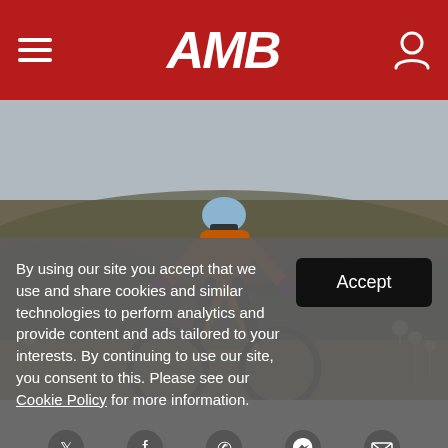AMB
[Figure (photo): Mountain biker in orange jersey and blue helmet riding aggressively downhill on a trail with dry grass and hills in the background]
By using our site you accept that we use and share cookies and similar technologies to perform analytics and provide content and ads tailored to your interests. By continuing to use our site, you consent to this. Please see our Cookie Policy for more information.